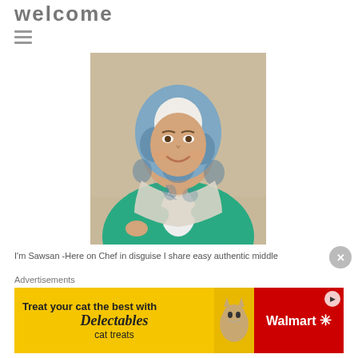welcome
[Figure (photo): Portrait photo of a smiling woman wearing a white hijab with blue floral pattern and a teal/green cardigan, arms crossed, against a light beige background.]
I'm Sawsan -Here on Chef in disguise I share easy authentic middle
Advertisements
[Figure (photo): Advertisement banner: 'Treat your cat the best with Delectables cat treats' on yellow background with cat image, and Walmart logo on red background.]